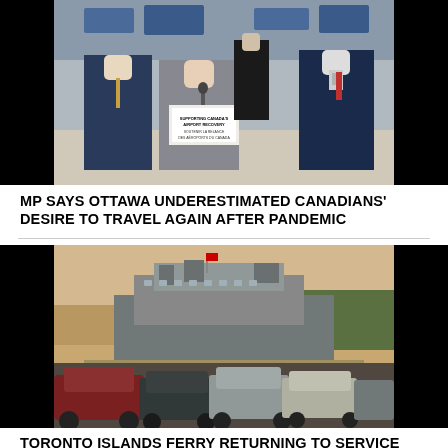[Figure (photo): Press conference at an airport terminal. A woman speaks at a podium with a sign reading 'SUPPORTING CANADA'S AIRPORT RECOVERY / SOUTENIR LA RELANCE DES AÉROPORTS DU CANADA'. Two men in suits stand beside her. Airport check-in area visible in background.]
MP SAYS OTTAWA UNDERESTIMATED CANADIANS' DESIRE TO TRAVEL AGAIN AFTER PANDEMIC
[Figure (photo): A Toronto Islands ferry docked at a port, with several cars parked in the foreground. Hazy, golden-hour lighting. A Canadian flag is visible on the ferry.]
TORONTO ISLANDS FERRY RETURNING TO SERVICE WEDNESDAY FOLLOWING [FINAL...